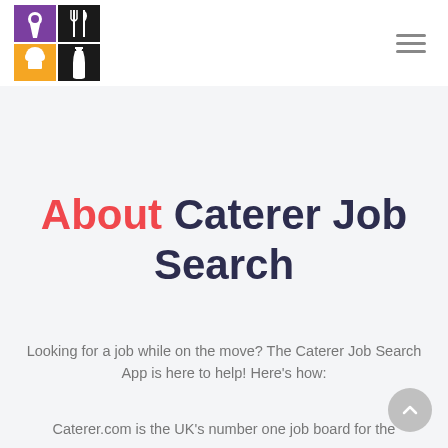[Figure (logo): Caterer Job Search app logo: 2x2 grid with purple top-left (keyhole icon), black top-right (fork and knife icon), orange bottom-left (chef hat icon), black bottom-right (wine bottle icon)]
About Caterer Job Search
Looking for a job while on the move? The Caterer Job Search App is here to help! Here's how:
Caterer.com is the UK's number one job board for the